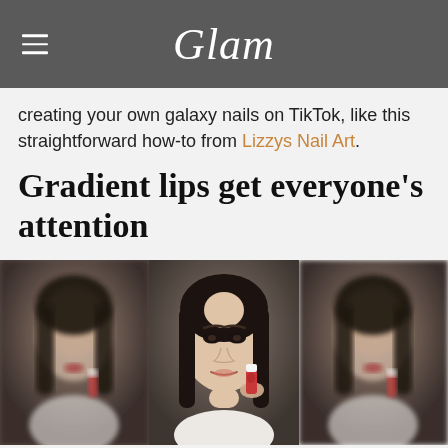Glam
creating your own galaxy nails on TikTok, like this straightforward how-to from Lizzys Nail Art.
Gradient lips get everyone's attention
[Figure (photo): Three-panel image of a young Asian woman demonstrating gradient lip makeup technique, holding a small red and white lip product. Left and right panels show a blurred side profile; center panel shows her face-on holding the product near her cheek.]